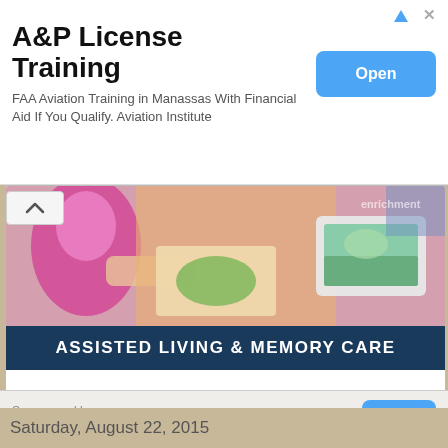A&P License Training
FAA Aviation Training in Manassas With Financial Aid If You Qualify. Aviation Institute
[Figure (screenshot): Open button for A&P License Training ad]
[Figure (photo): Photo of elderly person painting at a table with art supplies and a computer tablet visible in background]
ASSISTED LIVING & MEMORY CARE
Holistic programs. Harmonious lifestyle.
SCHEDULE A TOUR
[Figure (logo): Tribute at Melford logo - dark blue circular icon with white leaf/wing shapes, text TRIBUTE AT MELFORD]
Sponsored by
community.cadencesl.com
Saturday, August 22, 2015